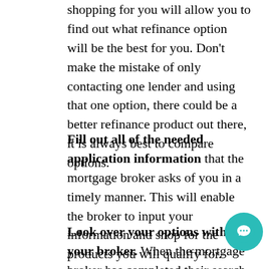shopping for you will allow you to find out what refinance option will be the best for you. Don't make the mistake of only contacting one lender and using that one option, there could be a better refinance product out there, it is always best to compare options.
Fill out all of the needed application information that the mortgage broker asks of you in a timely manner. This will enable the broker to input your information and shop for the products you will qualify for.
Look over your options with your broker. When the mortgage broker has completed their search for the best rental refinance options for you, they will present you with the